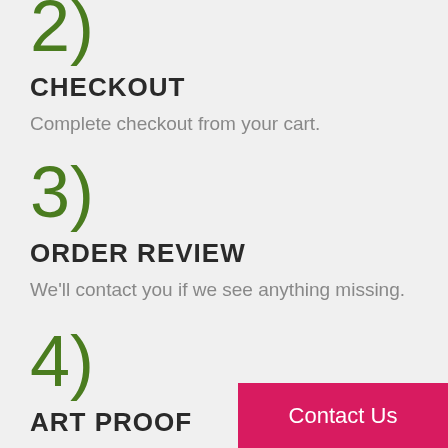2)
CHECKOUT
Complete checkout from your cart.
3)
ORDER REVIEW
We'll contact you if we see anything missing.
4)
ART PROOF
We won't print anything until you love t
Contact Us